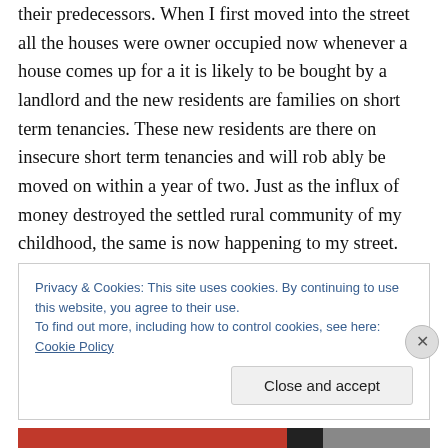their predecessors. When I first moved into the street all the houses were owner occupied now whenever a house comes up for a it is likely to be bought by a landlord and the new residents are families on short term tenancies. These new residents are there on insecure short term tenancies and will rob ably be moved on within a year of two. Just as the influx of money destroyed the settled rural community of my childhood, the same is now happening to my street. Neighbour's such as C… who have lived in this street for fifty years will become an increasing rarity, in future long term residents will be those who have renewed
Privacy & Cookies: This site uses cookies. By continuing to use this website, you agree to their use.
To find out more, including how to control cookies, see here: Cookie Policy